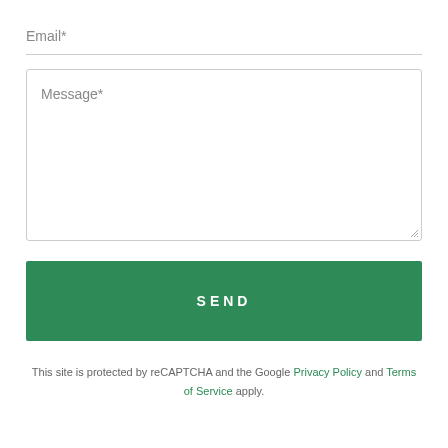Email*
Message*
SEND
This site is protected by reCAPTCHA and the Google Privacy Policy and Terms of Service apply.